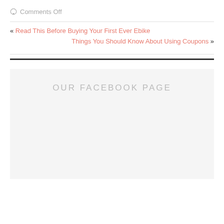Comments Off
« Read This Before Buying Your First Ever Ebike
Things You Should Know About Using Coupons »
OUR FACEBOOK PAGE